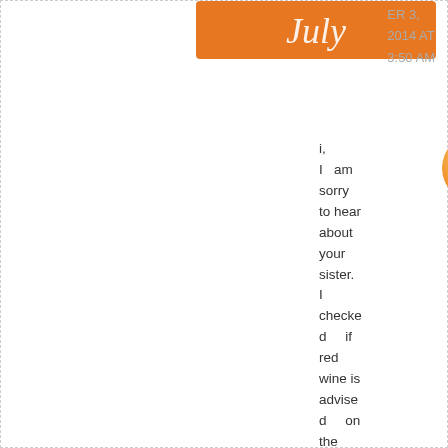[Figure (illustration): Orange/red decorative script logo image at top center]
ER 3, 2014 AT 3:50 AM
[Figure (infographic): Three social media/follow icons: RSS (orange), Email/envelope (tan/gold), Facebook (blue)]
Hi, I am sorry to hear about your sister. I checked if red wine is advised on the Mediterranean diet. Here's